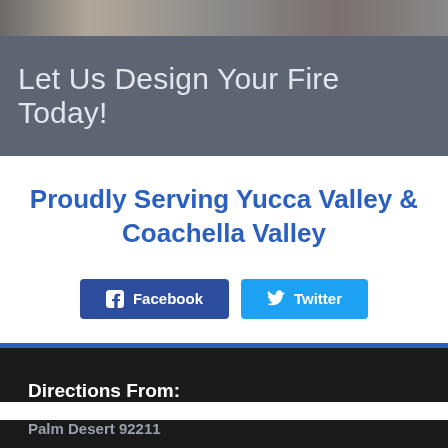[Figure (photo): Photo strip at the top of the page showing partial images]
Let Us Design Your Fire Today!
Proudly Serving Yucca Valley & Coachella Valley
Facebook  Twitter (social share buttons)
Directions From:
Palm Desert 92211